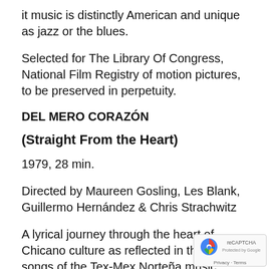it music is distinctly American and unique as jazz or the blues.
Selected for The Library Of Congress, National Film Registry of motion pictures, to be preserved in perpetuity.
DEL MERO CORAZÓN
(Straight From the Heart)
1979, 28 min.
Directed by Maureen Gosling, Les Blank, Guillermo Hernández & Chris Strachwitz
A lyrical journey through the heart of Chicano culture as reflected in the love songs of the Tex-Mex Norteña music tradition, constructed from outtakes from Chulas Fronteras and brought to life by long